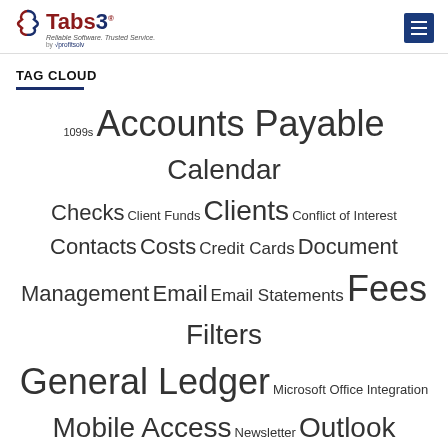Tabs3 - Reliable Software. Trusted Service. by ProfitSolv
TAG CLOUD
1099s Accounts Payable Calendar Checks Client Funds Clients Conflict of Interest Contacts Costs Credit Cards Document Management Email Email Statements Fees Filters General Ledger Microsoft Office Integration Mobile Access Newsletter Outlook Integration Payments Platinum PM Journal PM Matter Manager PracticeMaster Printing Reports Resources
Share or Print this Article